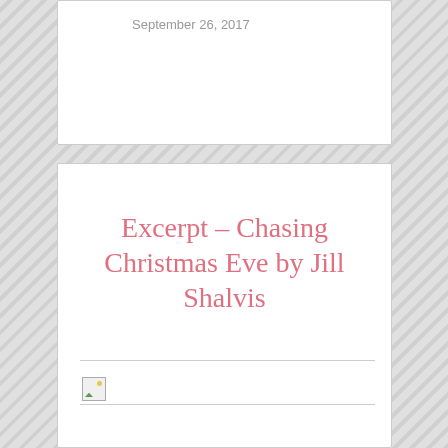September 26, 2017
Excerpt – Chasing Christmas Eve by Jill Shalvis
[Figure (other): Broken/placeholder image icon at the top of an image region]